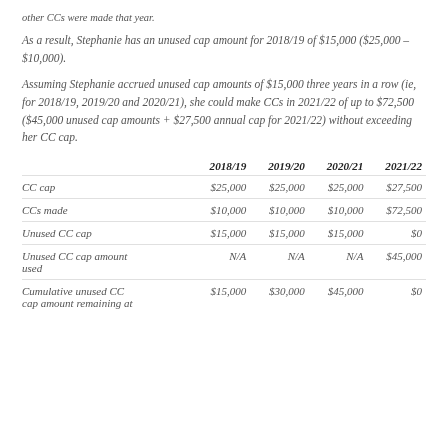other CCs were made that year.
As a result, Stephanie has an unused cap amount for 2018/19 of $15,000 ($25,000 – $10,000).
Assuming Stephanie accrued unused cap amounts of $15,000 three years in a row (ie, for 2018/19, 2019/20 and 2020/21), she could make CCs in 2021/22 of up to $72,500 ($45,000 unused cap amounts + $27,500 annual cap for 2021/22) without exceeding her CC cap.
|  | 2018/19 | 2019/20 | 2020/21 | 2021/22 |
| --- | --- | --- | --- | --- |
| CC cap | $25,000 | $25,000 | $25,000 | $27,500 |
| CCs made | $10,000 | $10,000 | $10,000 | $72,500 |
| Unused CC cap | $15,000 | $15,000 | $15,000 | $0 |
| Unused CC cap amount used | N/A | N/A | N/A | $45,000 |
| Cumulative unused CC cap amount remaining at | $15,000 | $30,000 | $45,000 | $0 |